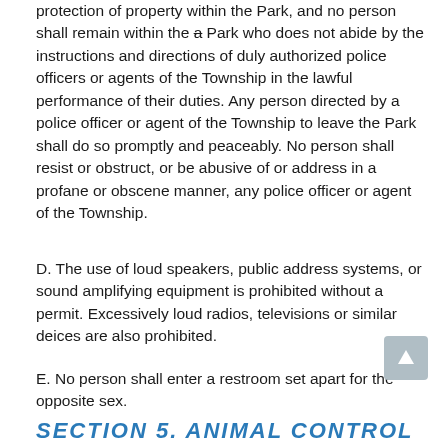protection of property within the Park, and no person shall remain within the a Park who does not abide by the instructions and directions of duly authorized police officers or agents of the Township in the lawful performance of their duties. Any person directed by a police officer or agent of the Township to leave the Park shall do so promptly and peaceably. No person shall resist or obstruct, or be abusive of or address in a profane or obscene manner, any police officer or agent of the Township.
D. The use of loud speakers, public address systems, or sound amplifying equipment is prohibited without a permit. Excessively loud radios, televisions or similar deices are also prohibited.
E. No person shall enter a restroom set apart for the opposite sex.
SECTION 5. ANIMAL CONTROL